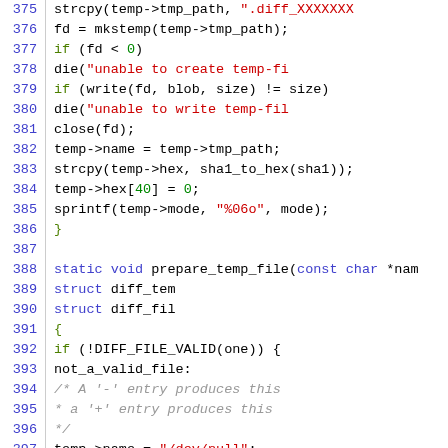[Figure (screenshot): Source code listing showing C code lines 375-404 with syntax highlighting: line numbers in blue, keywords in blue/green, string literals in red, comments in gray italic, plain code in black.]